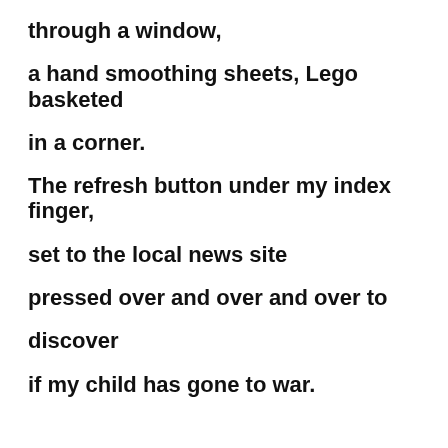through a window,

a hand smoothing sheets, Lego basketed

in a corner.

The refresh button under my index finger,

set to the local news site

pressed over and over and over to

discover

if my child has gone to war.